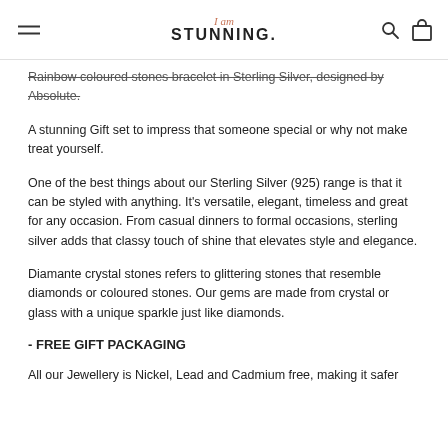I am STUNNING.
Rainbow coloured stones bracelet in Sterling Silver, designed by Absolute.
A stunning Gift set to impress that someone special or why not make treat yourself.
One of the best things about our Sterling Silver (925) range is that it can be styled with anything. It's versatile, elegant, timeless and great for any occasion. From casual dinners to formal occasions, sterling silver adds that classy touch of shine that elevates style and elegance.
Diamante crystal stones refers to glittering stones that resemble diamonds or coloured stones. Our gems are made from crystal or glass with a unique sparkle just like diamonds.
- FREE GIFT PACKAGING
All our Jewellery is Nickel, Lead and Cadmium free, making it safer